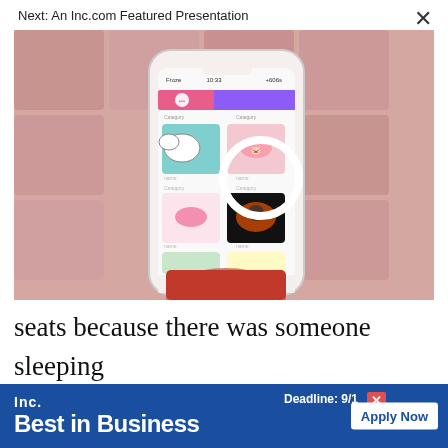Next: An Inc.com Featured Presentation
[Figure (photo): A hand holding a smartphone displaying a mobile app with a grid of illustrated sticker images including animals. Background shows blurred pink/mauve artwork tiles.]
seats because there was someone sleeping

and spread across their assigned seats, when

they boarded in Houston–and that a U.S.

mar
[Figure (screenshot): Inc. Best in Business advertisement banner. Dark blue background. Left: 'Inc.' in white bold text above 'Best in Business' in large white bold text. Right side shows 'Deadline: 9/1' with an X button, and a white 'Apply Now' button.]